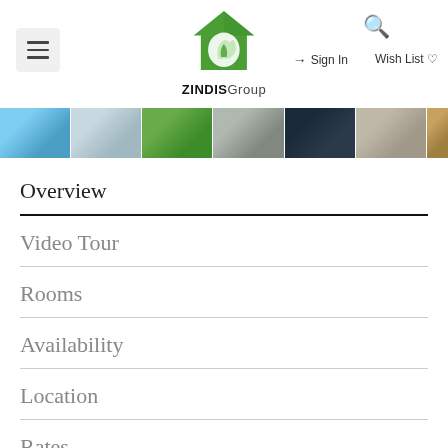ZINDIS Group — Sign In | Wish List | Search
[Figure (photo): Horizontal photo strip showing various property images]
Overview
Video Tour
Rooms
Availability
Location
Rates